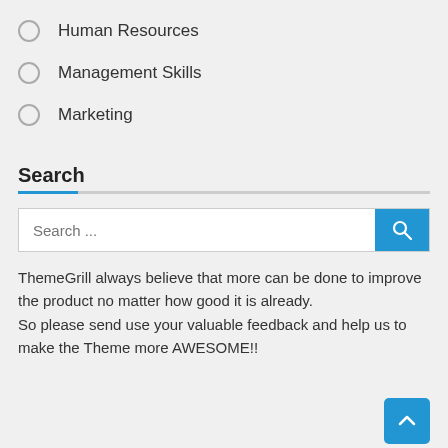Human Resources
Management Skills
Marketing
Search
Search ...
ThemeGrill always believe that more can be done to improve the product no matter how good it is already.
So please send use your valuable feedback and help us to make the Theme more AWESOME!!